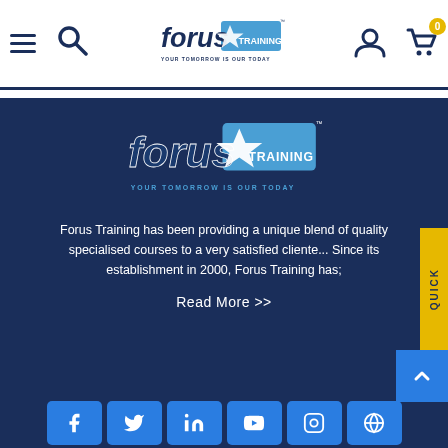[Figure (logo): Forus Training logo with tagline YOUR TOMORROW IS OUR TODAY in navigation bar]
[Figure (logo): Forus Training large logo with tagline YOUR TOMORROW IS OUR TODAY on dark navy background]
Forus Training has been providing a unique blend of quality specialised courses to a very satisfied cliente... Since its establishment in 2000, Forus Training has;
Read More >>
[Figure (illustration): Social media icons row: Facebook, Twitter, LinkedIn, YouTube, Instagram, and another icon]